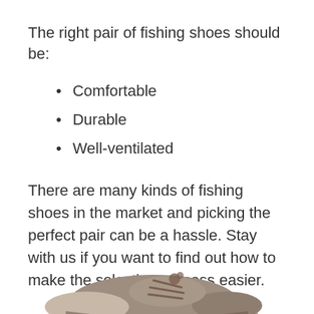The right pair of fishing shoes should be:
Comfortable
Durable
Well-ventilated
There are many kinds of fishing shoes in the market and picking the perfect pair can be a hassle. Stay with us if you want to find out how to make the selection process easier.
[Figure (photo): A close-up photo of a tan/beige fishing shoe with brown laces, partially visible at the bottom of the page.]